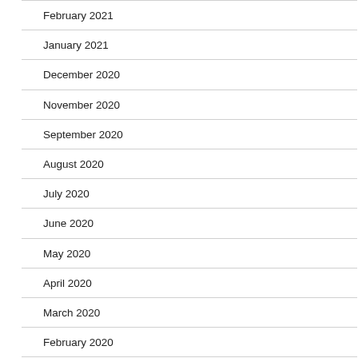February 2021
January 2021
December 2020
November 2020
September 2020
August 2020
July 2020
June 2020
May 2020
April 2020
March 2020
February 2020
January 2020